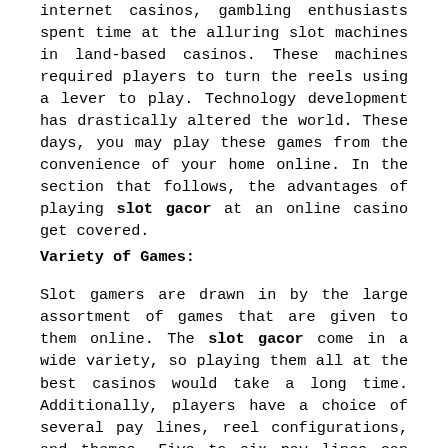internet casinos, gambling enthusiasts spent time at the alluring slot machines in land-based casinos. These machines required players to turn the reels using a lever to play. Technology development has drastically altered the world. These days, you may play these games from the convenience of your home online. In the section that follows, the advantages of playing slot gacor at an online casino get covered.
Variety of Games:
Slot gamers are drawn in by the large assortment of games that are given to them online. The slot gacor come in a wide variety, so playing them all at the best casinos would take a long time. Additionally, players have a choice of several pay lines, reel configurations, and themes. Five to six pay lines can find on modern online slots. Making an online slot is simple and requires less time